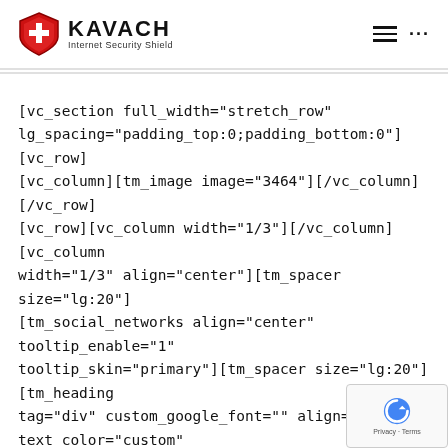KAVACH Internet Security Shield
[vc_section full_width="stretch_row" lg_spacing="padding_top:0;padding_bottom:0"][vc_row][vc_column][tm_image image="3464"][/vc_column][/vc_row][vc_row][vc_column width="1/3"][/vc_column][vc_column width="1/3" align="center"][tm_spacer size="lg:20"][tm_social_networks align="center" tooltip_enable="1" tooltip_skin="primary"][tm_spacer size="lg:20"][tm_heading tag="div" custom_google_font="" align="center" text_color="custom" custom_text_color="#7e7e7e"]© 2 Mobishastra Technologies Pvt. Ltd. Developed By Digi Fruition[tm_heading][/vc_column]